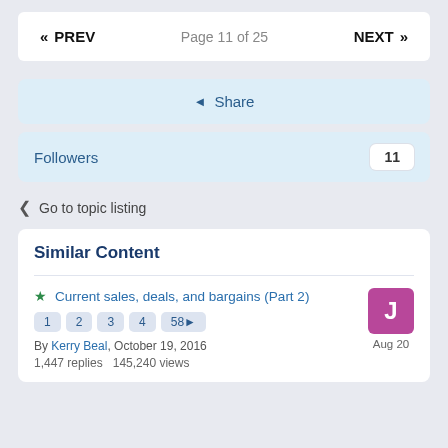« PREV   Page 11 of 25   NEXT »
Share
Followers  11
< Go to topic listing
Similar Content
★ Current sales, deals, and bargains (Part 2)  1  2  3  4  58▶
By Kerry Beal, October 19, 2016
1,447 replies   145,240 views